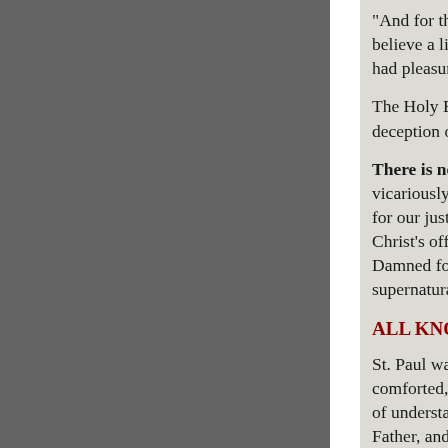"And for this cause God shall send them strong delusion, that they should believe a lie: That they all might be damned who believed not the truth, but had pleasure in unrighteousness."
The Holy Bible is the final answer to every question of life – and to the deception of Satan and his agents.
There is no middle ground. vicariously gave His life for our sins, died for our justification, and arose again. Either you accept Christ's offer of salvation or you are Damned forever. They will believe supernatural wonders and miracles.
ALL KNOWLEDGE
St. Paul warned those in Colosse that they might be comforted, being knit together in love, and unto all riches of understanding, to the acknowledgement of the mystery of God, and of the Father, and of Christ: In whom are hid all the treasures of wisdom and Knowledge. And this I say, lest any man should beguile you with enticing words.